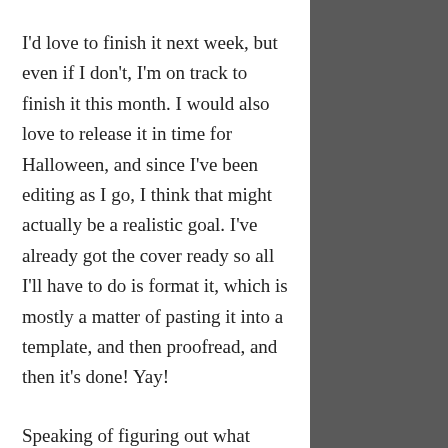I'd love to finish it next week, but even if I don't, I'm on track to finish it this month. I would also love to release it in time for Halloween, and since I've been editing as I go, I think that might actually be a realistic goal. I've already got the cover ready so all I'll have to do is format it, which is mostly a matter of pasting it into a template, and then proofread, and then it's done! Yay!
Speaking of figuring out what works for me, this week I discovered The